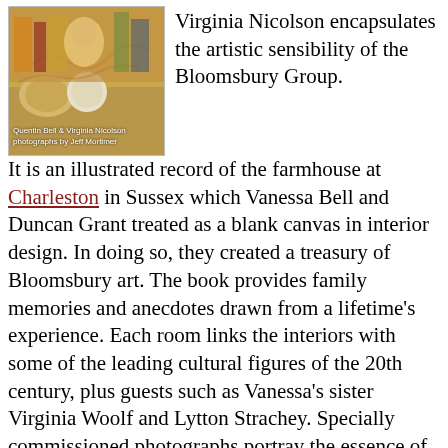[Figure (photo): Book cover photo showing interior scene with painted furniture and decorative items, with caption overlay reading 'Quentin Bell & Virginia Nicolson photographs by Jeff Mortimer']
Virginia Nicolson encapsulates the artistic sensibility of the Bloomsbury Group. It is an illustrated record of the farmhouse at Charleston in Sussex which Vanessa Bell and Duncan Grant treated as a blank canvas in interior design. In doing so, they created a treasury of Bloomsbury art. The book provides family memories and anecdotes drawn from a lifetime's experience. Each room links the interiors with some of the leading cultural figures of the 20th century, plus guests such as Vanessa's sister Virginia Woolf and Lytton Strachey. Specially commissioned photographs portray the essence of the Bloomsbury style both throughout the house, with its painted furniture and walls, plus decorative items, paintings, and objects in the